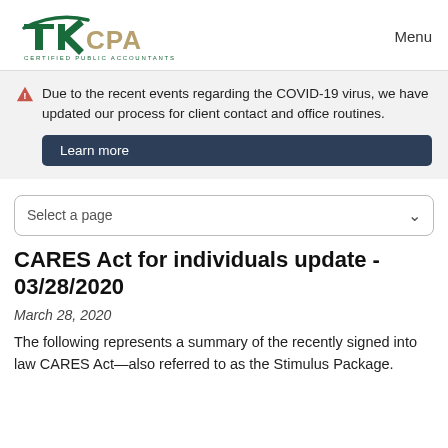TK CPA Certified Public Accountants | Menu
Due to the recent events regarding the COVID-19 virus, we have updated our process for client contact and office routines. Learn more
Select a page
CARES Act for individuals update - 03/28/2020
March 28, 2020
The following represents a summary of the recently signed into law CARES Act—also referred to as the Stimulus Package.